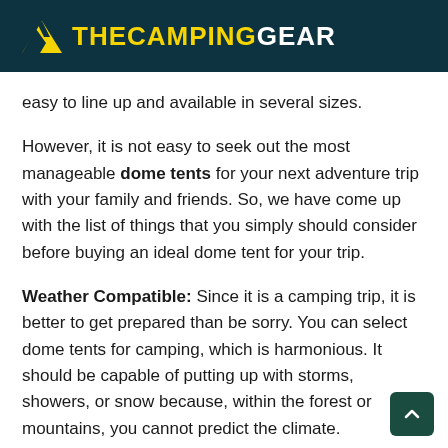THECAMPINGGEAR
easy to line up and available in several sizes.
However, it is not easy to seek out the most manageable dome tents for your next adventure trip with your family and friends. So, we have come up with the list of things that you simply should consider before buying an ideal dome tent for your trip.
Weather Compatible: Since it is a camping trip, it is better to get prepared than be sorry. You can select dome tents for camping, which is harmonious. It should be capable of putting up with storms, showers, or snow because, within the forest or mountains, you cannot predict the climate.